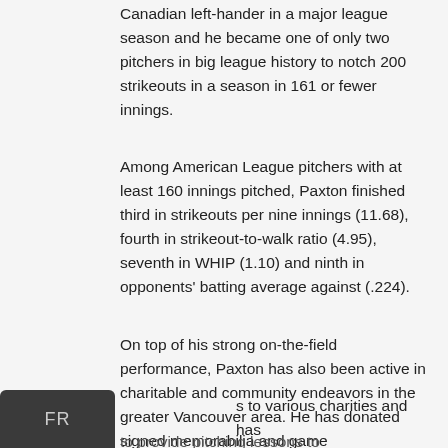Canadian left-hander in a major league season and he became one of only two pitchers in big league history to notch 200 strikeouts in a season in 161 or fewer innings.
Among American League pitchers with at least 160 innings pitched, Paxton finished third in strikeouts per nine innings (11.68), fourth in strikeout-to-walk ratio (4.95), seventh in WHIP (1.10) and ninth in opponents' batting average against (.224).
On top of his strong on-the-field performance, Paxton has also been active in charitable and community endeavors in the greater Vancouver area. He has donated signed memorabilia and game [FR]s to various charities and has [text cut off] to provide pitching lessons to